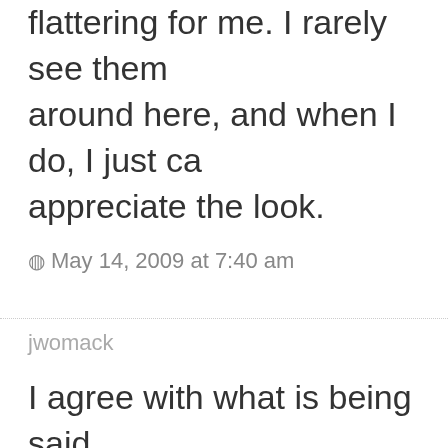flattering for me. I rarely see them around here, and when I do, I just can appreciate the look.
May 14, 2009 at 7:40 am
jwomack
I agree with what is being said. Although I admire the ease of dress — throw it on, flats and some jewel and out the door — I also feel that t